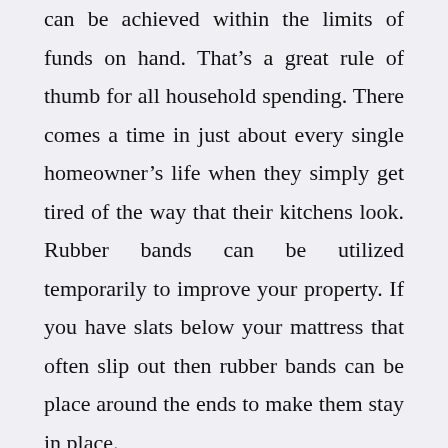can be achieved within the limits of funds on hand. That's a great rule of thumb for all household spending. There comes a time in just about every single homeowner's life when they simply get tired of the way that their kitchens look. Rubber bands can be utilized temporarily to improve your property. If you have slats below your mattress that often slip out then rubber bands can be place around the ends to make them stay in place.

Gulfport Home Improvement is an